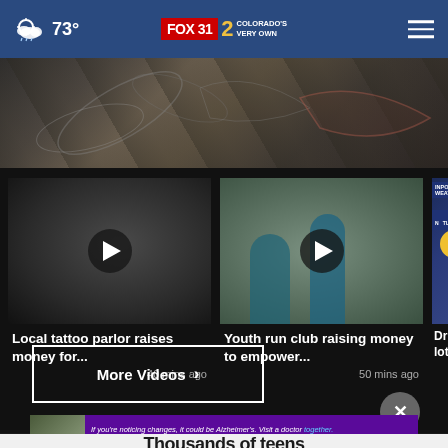73° FOX 31 2 COLORADO'S VERY OWN
[Figure (photo): Close-up photo of tattooed skin with floral/leaf tattoo design, dark tones]
[Figure (screenshot): Video thumbnail: Local tattoo parlor raises money for..., 40 mins ago]
[Figure (screenshot): Video thumbnail: Youth run club raising money to empower..., 50 mins ago]
[Figure (screenshot): Partial video thumbnail: Drier lots o... weather forecast card]
Local tattoo parlor raises money for...
40 mins ago
Youth run club raising money to empower...
50 mins ago
Drier lots o
More Videos ›
[Figure (photo): Advertisement: Two people standing outdoors. Purple background with Alzheimer's awareness ad text: If you're noticing changes, it could be Alzheimer's. Visit a doctor together.]
Thousands of teens